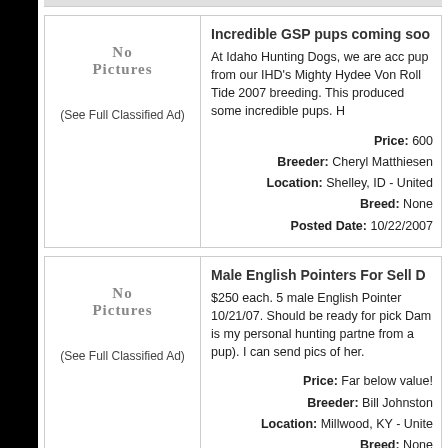Incredible GSP pups coming soo
At Idaho Hunting Dogs, we are acc pup from our IHD's Mighty Hydee Von Roll Tide 2007 breeding. This produced some incredible pups. H
Price: 600
Breeder: Cheryl Matthiesen
Location: Shelley, ID - United
Breed: None
Posted Date: 10/22/2007
(See Full Classified Ad)
Male English Pointers For Sell D
$250 each. 5 male English Pointer 10/21/07. Should be ready for pick Dam is my personal hunting partne from a pup). I can send pics of her.
Price: Far below value!
Breeder: Bill Johnston
Location: Millwood, KY - Unite
Breed: None
Posted Date: 10/21/2007
(See Full Classified Ad)